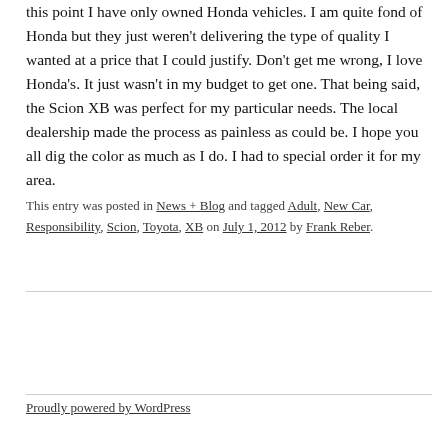this point I have only owned Honda vehicles. I am quite fond of Honda but they just weren't delivering the type of quality I wanted at a price that I could justify. Don't get me wrong, I love Honda's. It just wasn't in my budget to get one. That being said, the Scion XB was perfect for my particular needs. The local dealership made the process as painless as could be. I hope you all dig the color as much as I do. I had to special order it for my area.
This entry was posted in News + Blog and tagged Adult, New Car, Responsibility, Scion, Toyota, XB on July 1, 2012 by Frank Reber.
Proudly powered by WordPress